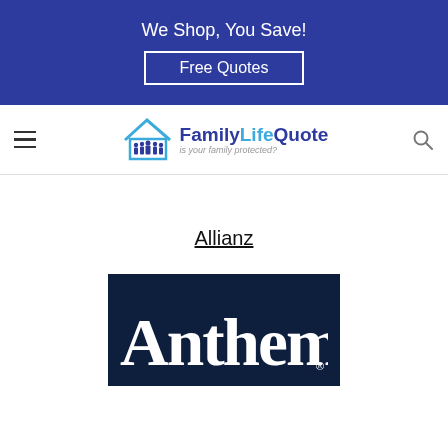We Shop, You Save!
Free Quotes
[Figure (logo): FamilyLifeQuote logo with house icon and people silhouettes, tagline 'is your family protected?']
Allianz
[Figure (logo): Anthem logo: white serif text 'Anthem' on dark navy blue background with registered trademark symbol]